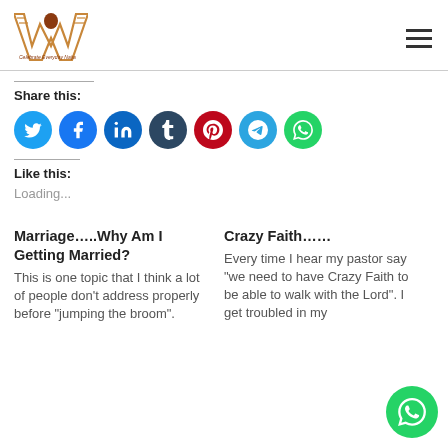Wazobiafm logo and hamburger menu
Share this:
[Figure (infographic): Row of social media icon circles: Twitter (light blue), Facebook (blue), LinkedIn (dark blue), Tumblr (dark navy), Pinterest (red), Telegram (sky blue), WhatsApp (green)]
Like this:
Loading...
Marriage…..Why Am I Getting Married?
This is one topic that I think a lot of people don't address properly before "jumping the broom".
Crazy Faith……
Every time I hear my pastor say "we need to have Crazy Faith to be able to walk with the Lord". I get troubled in my